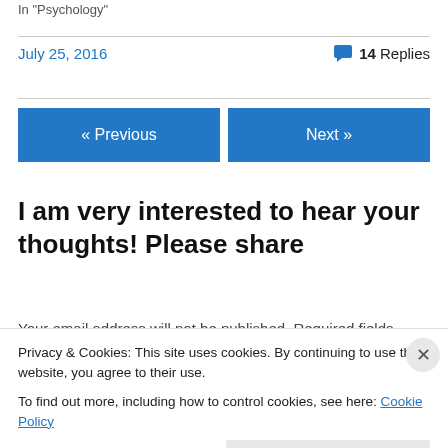In "Psychology"
July 25, 2016
14 Replies
« Previous
Next »
I am very interested to hear your thoughts! Please share
Your email address will not be published. Required fields
Privacy & Cookies: This site uses cookies. By continuing to use this website, you agree to their use.
To find out more, including how to control cookies, see here: Cookie Policy
Close and accept